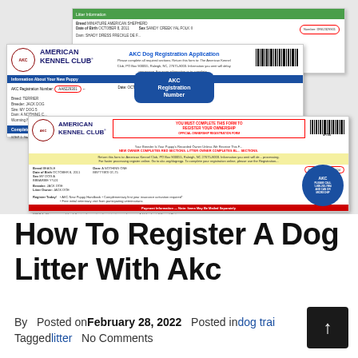[Figure (photo): Composite image showing AKC Dog Registration Application forms. Includes three overlapping document cards: a top card with green header showing dog registration info, a middle card showing 'AKC Dog Registration Application' with barcode and blue header, and a bottom card showing 'YOU MUST COMPLETE THIS FORM TO REGISTER YOUR OWNERSHIP — OFFICIAL OWNERSHIP REGISTRATION FORM'. Red circles highlight AKC Registration Number fields. A floating blue callout bubble labels 'AKC Registration Number'. An AKC blue circular tag is visible at bottom right.]
How To Register A Dog Litter With Akc
By   Posted on February 28, 2022   Posted in dog trai   Tagged litter   No Comments